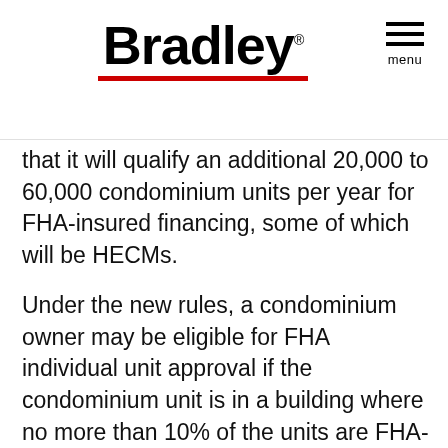Bradley [logo]
that it will qualify an additional 20,000 to 60,000 condominium units per year for FHA-insured financing, some of which will be HECMs.
Under the new rules, a condominium owner may be eligible for FHA individual unit approval if the condominium unit is in a building where no more than 10% of the units are FHA-insured or, if in a building with fewer than 10 total units, no more than two units hold FHA insurance. HUD also adjusted the owner-occupancy rules, now only requiring that 50% be owner-occupied. In addition to these changes, the rule also expands